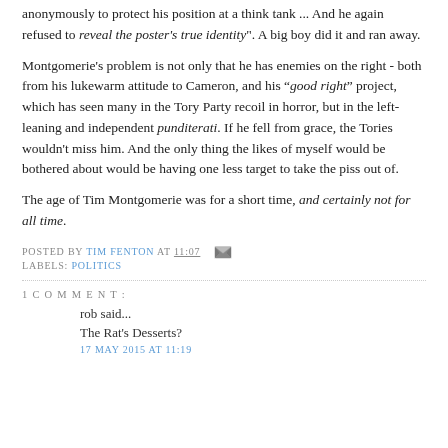anonymously to protect his position at a think tank ... And he again refused to reveal the poster's true identity". A big boy did it and ran away.
Montgomerie's problem is not only that he has enemies on the right - both from his lukewarm attitude to Cameron, and his “good right” project, which has seen many in the Tory Party recoil in horror, but in the left-leaning and independent punditerati. If he fell from grace, the Tories wouldn't miss him. And the only thing the likes of myself would be bothered about would be having one less target to take the piss out of.
The age of Tim Montgomerie was for a short time, and certainly not for all time.
POSTED BY TIM FENTON AT 11:07  [email icon]
LABELS: POLITICS
1 COMMENT:
rob said...
The Rat's Desserts?
17 MAY 2015 AT 11:19